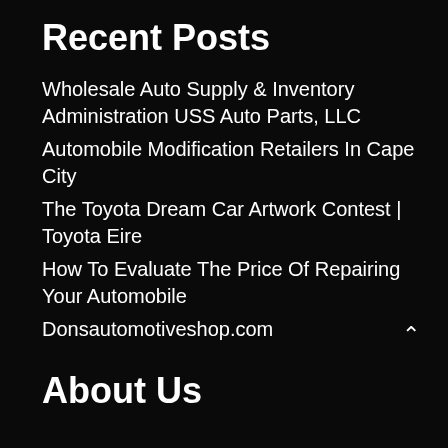Recent Posts
Wholesale Auto Supply & Inventory Administration USS Auto Parts, LLC
Automobile Modification Retailers In Cape City
The Toyota Dream Car Artwork Contest | Toyota Eire
How To Evaluate The Price Of Repairing Your Automobile
Donsautomotiveshop.com
About Us
Advertise Here
Contact Us